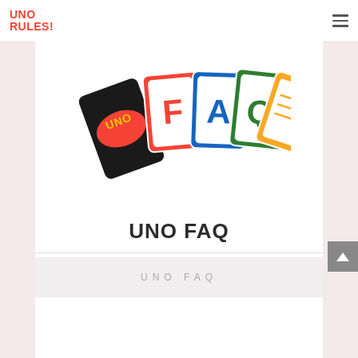UNO RULES!
[Figure (illustration): UNO FAQ graphic showing UNO branded cards: a black card with red oval and yellow UNO text, followed by a red card with F, a blue card with A, a green card with Q, and a yellow card with lines, arranged like fan/spread of UNO playing cards]
UNO FAQ
UNO FAQ